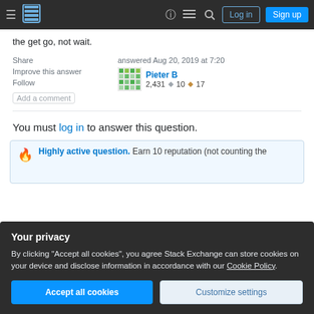Stack Exchange navigation bar with Log in and Sign up buttons
the get go, not wait.
Share   Improve this answer   Follow   Add a comment
answered Aug 20, 2019 at 7:20 Pieter B 2,431 ◆ 10 ◆ 17
You must log in to answer this question.
🔥 Highly active question. Earn 10 reputation (not counting the association bonus) to answer this question. Th…
Your privacy
By clicking "Accept all cookies", you agree Stack Exchange can store cookies on your device and disclose information in accordance with our Cookie Policy.
Accept all cookies   Customize settings